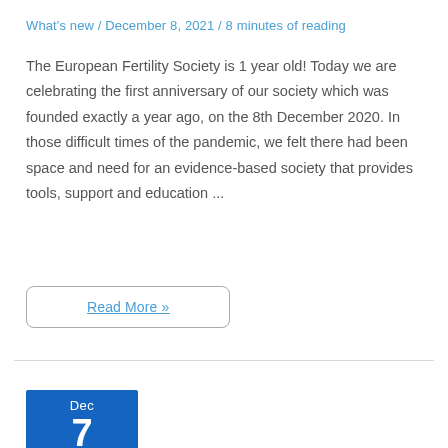What's new / December 8, 2021 / 8 minutes of reading
The European Fertility Society is 1 year old! Today we are celebrating the first anniversary of our society which was founded exactly a year ago, on the 8th December 2020. In those difficult times of the pandemic, we felt there had been space and need for an evidence-based society that provides tools, support and education ...
Read More »
Dec 7 2021